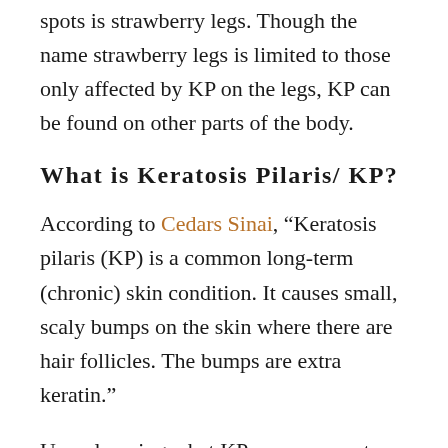spots is strawberry legs. Though the name strawberry legs is limited to those only affected by KP on the legs, KP can be found on other parts of the body.
What is Keratosis Pilaris/ KP?
According to Cedars Sinai, “Keratosis pilaris (KP) is a common long-term (chronic) skin condition. It causes small, scaly bumps on the skin where there are hair follicles. The bumps are extra keratin.”
Upon learning what KP was, my next question was “how can I get rid of it?’